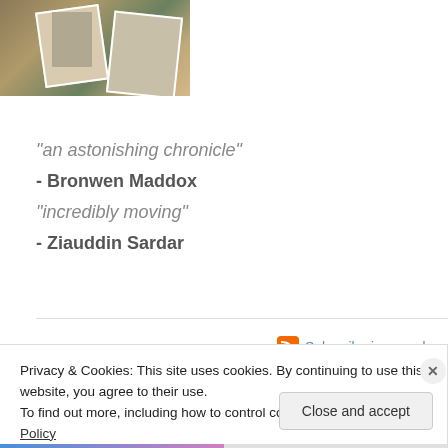[Figure (photo): Book cover image showing vintage photographs scattered on a textured background, with a number visible]
"an astonishing chronicle"
- Bronwen Maddox
"incredibly moving"
- Ziauddin Sardar
Subscribe in a reader
Follow me on Twitter
Privacy & Cookies: This site uses cookies. By continuing to use this website, you agree to their use.
To find out more, including how to control cookies, see here: Cookie Policy
Close and accept